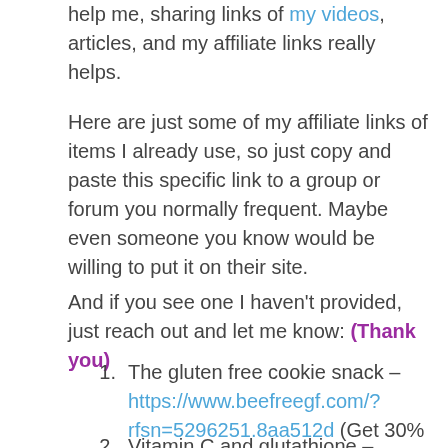help me, sharing links of my videos, articles, and my affiliate links really helps.
Here are just some of my affiliate links of items I already use, so just copy and paste this specific link to a group or forum you normally frequent. Maybe even someone you know would be willing to put it on their site.
And if you see one I haven't provided, just reach out and let me know: (Thank you)
The gluten free cookie snack – https://www.beefreegf.com/?rfsn=5296251.8aa512d (Get 30% off your first order with this code WEDESERVEHEALTH)
Vitamin C and glutathione –